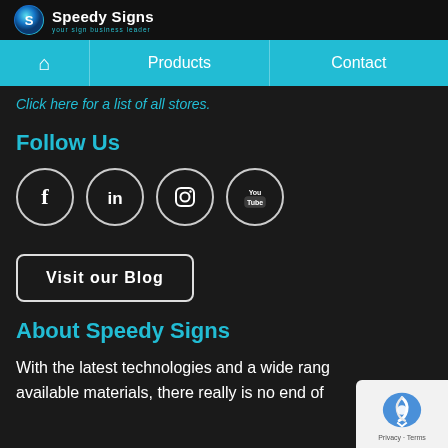Speedy Signs
[Figure (screenshot): Navigation bar with home icon, Products, and Contact links on a cyan/teal background]
Click here for a list of all stores.
Follow Us
[Figure (infographic): Social media icons row: Facebook, LinkedIn, Instagram, YouTube — white outlined circles on dark background]
[Figure (other): Visit our Blog button — rounded rectangle with white border]
About Speedy Signs
With the latest technologies and a wide range of available materials, there really is no end of
[Figure (other): Google reCAPTCHA badge in bottom right corner]